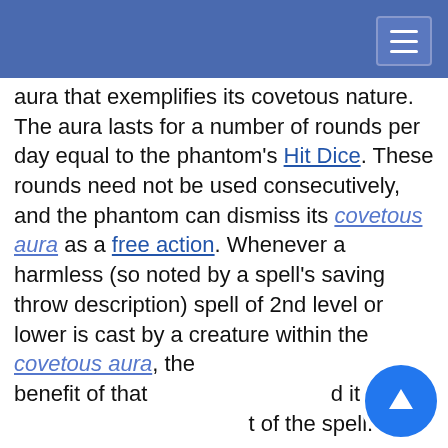aura that exemplifies its covetous nature. The aura lasts for a number of rounds per day equal to the phantom's Hit Dice. These rounds need not be used consecutively, and the phantom can dismiss its covetous aura as a free action. Whenever a harmless (so noted by a spell's saving throw description) spell of 2nd level or lower is cast by a creature within the covetous aura, the benefit of that [spell and it]. The [effect] of the spell.
[level,] [to 0 hit points] [ng the] [Charisma] [ed to the]
This website uses cookies to provide functionality, but which are not used to track your activity. By continuing to use this site, you agree to the use of these cookies.

However, in addition to this, you may opt into your activity being tracked in order to help us improve our service.

For more information, please click here